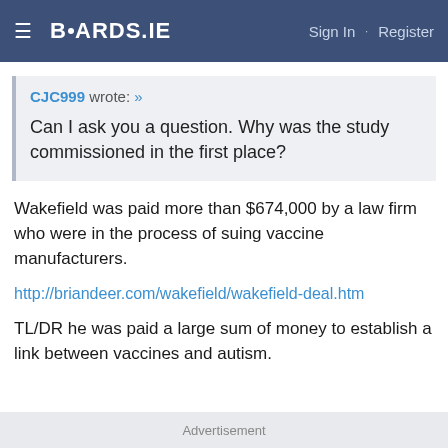BOARDS.IE  Sign In · Register
CJC999 wrote: »

Can I ask you a question. Why was the study commissioned in the first place?
Wakefield was paid more than $674,000 by a law firm who were in the process of suing vaccine manufacturers.
http://briandeer.com/wakefield/wakefield-deal.htm
TL/DR he was paid a large sum of money to establish a link between vaccines and autism.
Advertisement